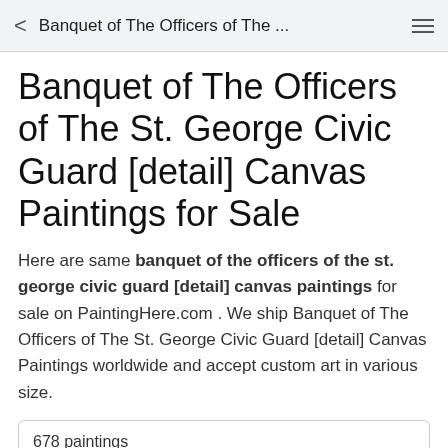Banquet of The Officers of The ...
Banquet of The Officers of The St. George Civic Guard [detail] Canvas Paintings for Sale
Here are same banquet of the officers of the st. george civic guard [detail] canvas paintings for sale on PaintingHere.com . We ship Banquet of The Officers of The St. George Civic Guard [detail] Canvas Paintings worldwide and accept custom art in various size.
678 paintings
1
2
3
Next